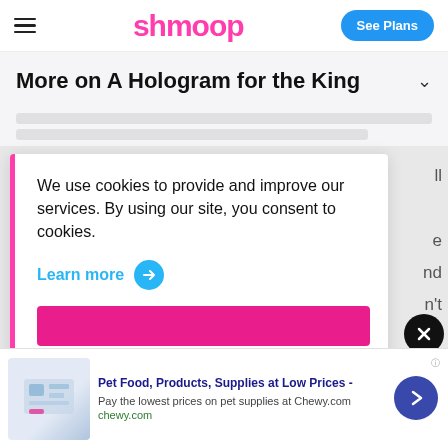shmoop — See Plans
More on A Hologram for the King
We use cookies to provide and improve our services. By using our site, you consent to cookies.
Learn more →
Pet Food, Products, Supplies at Low Prices - Pay the lowest prices on pet supplies at Chewy.com — chewy.com